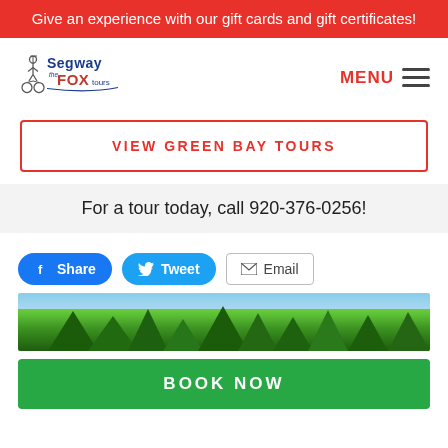Give an experience with our gift cards and gift certificates!
[Figure (logo): Segway the Fox tours logo with segway figure illustration and stylized text]
MENU
VIEW GREEN BAY TOURS
For a tour today, call 920-376-0256!
Share  Tweet  Email
[Figure (photo): Panoramic photo of trees and sky, green forest landscape]
BOOK NOW